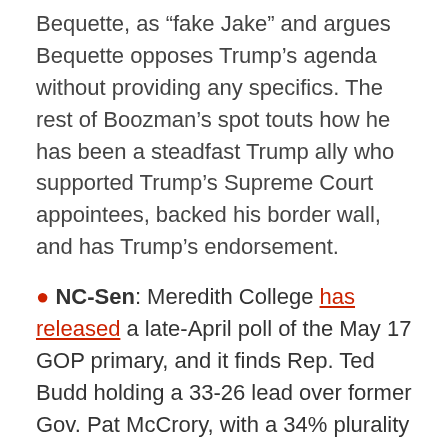Bequette, as “fake Jake” and argues Bequette opposes Trump’s agenda without providing any specifics. The rest of Boozman’s spot touts how he has been a steadfast Trump ally who supported Trump’s Supreme Court appointees, backed his border wall, and has Trump’s endorsement.
NC-Sen: Meredith College has released a late-April poll of the May 17 GOP primary, and it finds Rep. Ted Budd holding a 33-26 lead over former Gov. Pat McCrory, with a 34% plurality of voters still undecided. Budd has led in every poll since mid-March, and he would only need to win with a plurality above 30% in order to avoid a potential July runoff.
Governors
AZ-Gov, NM-Gov: The RGA has unveiled new ads